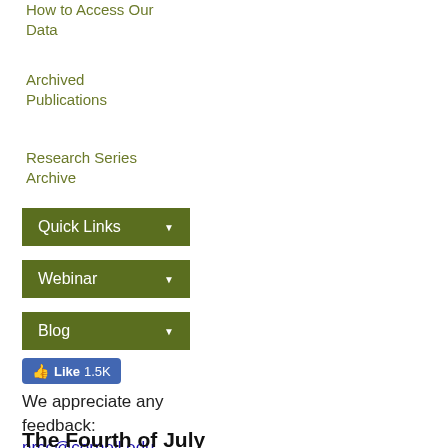How to Access Our Data
Archived Publications
Research Series Archive
Quick Links ▼
Webinar ▼
Blog ▼
[Figure (screenshot): Facebook Like button showing 1.5K likes]
We appreciate any feedback:
nrcc@cornell.edu
The Fourth of July